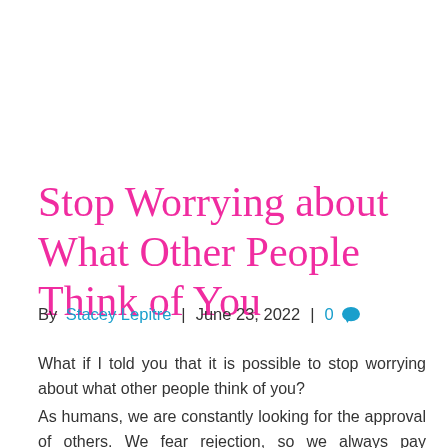Stop Worrying about What Other People Think of You
By Stacey Lepitre | June 23, 2022 | 0
What if I told you that it is possible to stop worrying about what other people think of you?
As humans, we are constantly looking for the approval of others. We fear rejection, so we always pay attention to